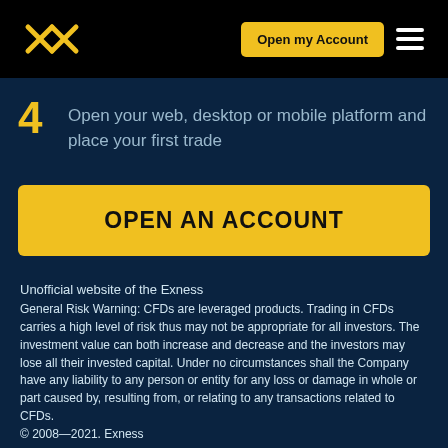Exness — Open my Account [navigation header with logo]
4  Open your web, desktop or mobile platform and place your first trade
OPEN AN ACCOUNT
Unofficial website of the Exness
General Risk Warning: CFDs are leveraged products. Trading in CFDs carries a high level of risk thus may not be appropriate for all investors. The investment value can both increase and decrease and the investors may lose all their invested capital. Under no circumstances shall the Company have any liability to any person or entity for any loss or damage in whole or part caused by, resulting from, or relating to any transactions related to CFDs.
© 2008—2021. Exness